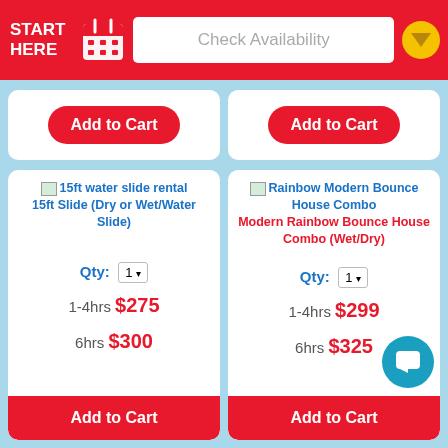START HERE | Check Availability
[Figure (screenshot): Top partial product cards with Add to Cart buttons visible from previous scroll position]
15ft water slide rental 15ft Slide (Dry or Wet/Water Slide)
Qty: 1
1-4hrs $275
6hrs $300
Rainbow Modern Bounce House Combo Modern Rainbow Bounce House Combo (Wet/Dry)
Qty: 1
1-4hrs $299
6hrs $325